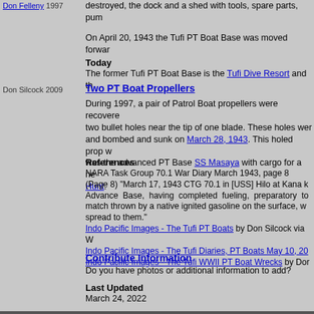Don Felleny 1997 destroyed, the dock and a shed with tools, spare parts, pum
On April 20, 1943 the Tufi PT Boat Base was moved forwar
Today
The former Tufi PT Boat Base is the Tufi Dive Resort and th
Don Silcock 2009
Two PT Boat Propellers
During 1997, a pair of Patrol Boat propellers were recovere two bullet holes near the tip of one blade. These holes wer and bombed and sunk on March 28, 1943. This holed prop w was the advanced PT Base SS Masaya with cargo for a ne Hunt.
References
NARA Task Group 70.1 War Diary March 1943, page 8 (Page 8) "March 17, 1943 CTG 70.1 in [USS] Hilo at Kana k Advance Base, having completed fueling, preparatory to match thrown by a native ignited gasoline on the surface, w spread to them." Indo Pacific Images - The Tufi PT Boats by Don Silcock via W Indo Pacific Images - The Tufi Diaries, PT Boats May 10, 20 Indo Pacific Images - The Tufi WWII PT Boat Wrecks by Dor
Contribute Information
Do you have photos or additional information to add?
Last Updated
March 24, 2022